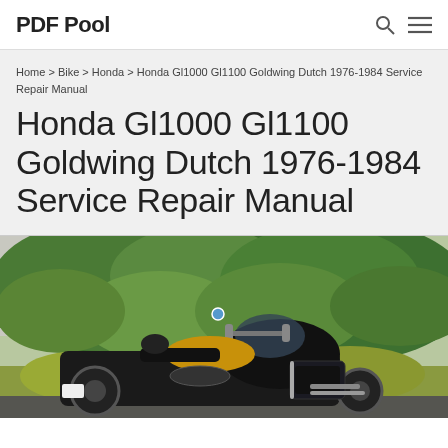PDF Pool
Home > Bike > Honda > Honda Gl1000 Gl1100 Goldwing Dutch 1976-1984 Service Repair Manual
Honda Gl1000 Gl1100 Goldwing Dutch 1976-1984 Service Repair Manual
[Figure (photo): Honda Goldwing motorcycle parked outdoors in front of green shrubbery]